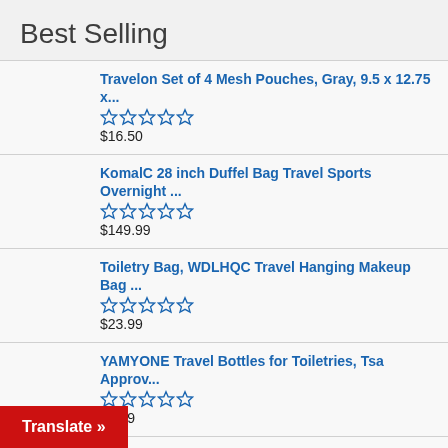Best Selling
Travelon Set of 4 Mesh Pouches, Gray, 9.5 x 12.75 x... ☆☆☆☆☆ $16.50
KomalC 28 inch Duffel Bag Travel Sports Overnight ... ☆☆☆☆☆ $149.99
Toiletry Bag, WDLHQC Travel Hanging Makeup Bag ... ☆☆☆☆☆ $23.99
YAMYONE Travel Bottles for Toiletries, Tsa Approv... ☆☆☆☆☆ $8.99
BEBE Women's 30" Rolling Duffel, Black Floral, One ... ☆☆☆☆☆ $80.00